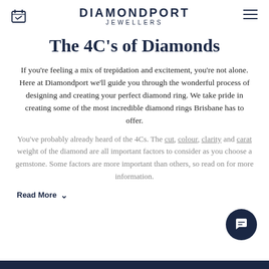DIAMONDPORT JEWELLERS
The 4C's of Diamonds
If you're feeling a mix of trepidation and excitement, you're not alone. Here at Diamondport we'll guide you through the wonderful process of designing and creating your perfect diamond ring. We take pride in creating some of the most incredible diamond rings Brisbane has to offer.
You've probably already heard of the 4Cs. The cut, colour, clarity and carat weight of the diamond are all important factors to consider as you choose a gemstone. Some factors are more important than others, so read on for more information.
Read More